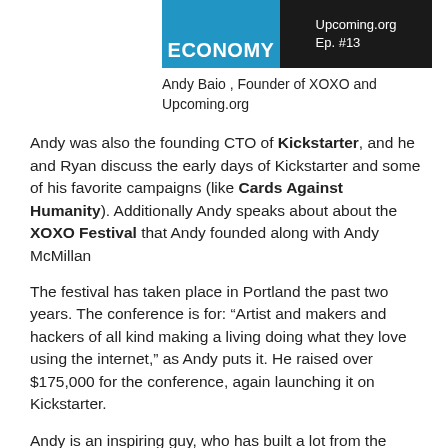[Figure (illustration): Podcast episode thumbnail split into two panels: left panel blue background with white bold text 'ECONOMY', right panel black background with white text 'Upcoming.org Ep. #13']
Andy Baio , Founder of XOXO and Upcoming.org
Andy was also the founding CTO of Kickstarter, and he and Ryan discuss the early days of Kickstarter and some of his favorite campaigns (like Cards Against Humanity). Additionally Andy speaks about about the XOXO Festival that Andy founded along with Andy McMillan
The festival has taken place in Portland the past two years. The conference is for: “Artist and makers and hackers of all kind making a living doing what they love using the internet,” as Andy puts it. He raised over $175,000 for the conference, again launching it on Kickstarter.
Andy is an inspiring guy, who has built a lot from the internet, and offline around events. To take a page from past guest, Adam Grant’s playbook, Andy is a true giver who gives to